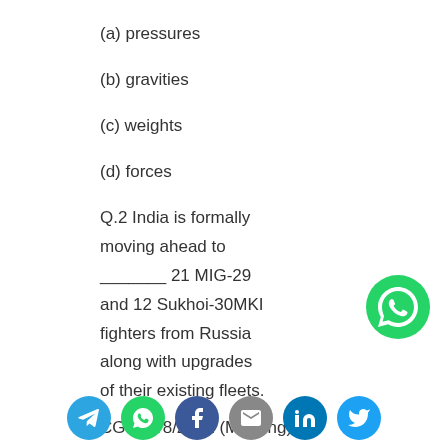(a) pressures
(b) gravities
(c) weights
(d) forces
Q.2 India is formally moving ahead to _______ 21 MIG-29 and 12 Sukhoi-30MKI fighters from Russia along with upgrades of their existing fleets.
CGL 13/8/2021 (Morning)
(a) achieve
[Figure (infographic): Social sharing icons row: Telegram (blue), WhatsApp (green), Facebook (dark blue), Email (grey), LinkedIn (dark blue), Twitter (light blue). Also a floating WhatsApp icon on the right side of the page.]